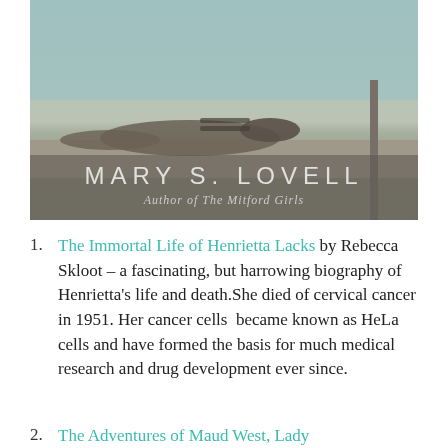[Figure (photo): Black and white photo of a person reclining near a dock or waterfront, with the text 'MARY S. LOVELL, Author of The Mitford Girls' overlaid at the bottom of the image.]
The Immortal Life of Henrietta Lacks by Rebecca Skloot – a fascinating, but harrowing biography of Henrietta's life and death.She died of cervical cancer in 1951. Her cancer cells  became known as HeLa cells and have formed the basis for much medical research and drug development ever since.
The Adventures of Maud West, Lady